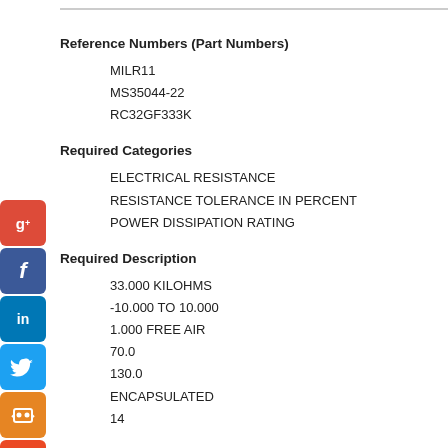Reference Numbers (Part Numbers)
MILR11
MS35044-22
RC32GF333K
Required Categories
ELECTRICAL RESISTANCE
RESISTANCE TOLERANCE IN PERCENT
POWER DISSIPATION RATING
Required Description
33.000 KILOHMS
-10.000 TO 10.000
1.000 FREE AIR
70.0
130.0
ENCAPSULATED
14